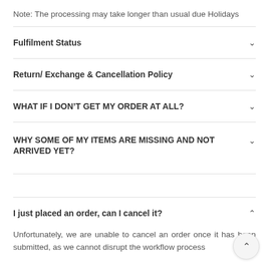Note: The processing may take longer than usual due Holidays
Fulfilment Status
Return/ Exchange & Cancellation Policy
WHAT IF I DON'T GET MY ORDER AT ALL?
WHY SOME OF MY ITEMS ARE MISSING AND NOT ARRIVED YET?
I just placed an order, can I cancel it?
Unfortunately, we are unable to cancel an order once it has been submitted, as we cannot disrupt the workflow process